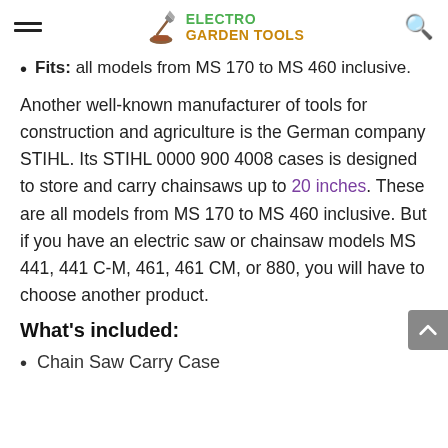ELECTRO GARDEN TOOLS
Fits: all models from MS 170 to MS 460 inclusive.
Another well-known manufacturer of tools for construction and agriculture is the German company STIHL. Its STIHL 0000 900 4008 cases is designed to store and carry chainsaws up to 20 inches. These are all models from MS 170 to MS 460 inclusive. But if you have an electric saw or chainsaw models MS 441, 441 C-M, 461, 461 CM, or 880, you will have to choose another product.
What’s included:
Chain Saw Carry Case